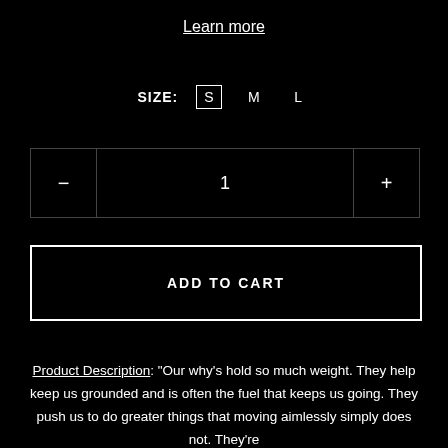Learn more
SIZE: S M L
|  | 1 |  |
| --- | --- | --- |
ADD TO CART
Product Description: "Our why's hold so much weight. They help keep us grounded and is often the fuel that keeps us going. They push us to do greater things that moving aimlessly simply does not. They're